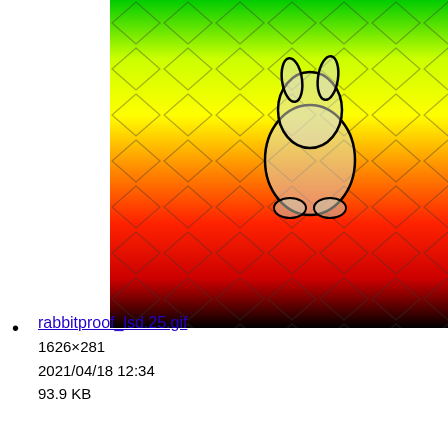[Figure (illustration): A rainbow-colored horizontal gradient image with a diamond/chain-link fence pattern overlay and cartoon rabbit outlines. Colors go from green at top through yellow, red, black at bottom. A white rabbit silhouette with black outline is visible in the center-right area.]
rabbitproof_lsd.25.gif
1626×281
2021/04/18 12:34
93.9 KB
[Figure (illustration): A second rainbow-colored horizontal gradient image with diamond/chain-link fence pattern. Colors go from black at top through magenta/purple, blue, cyan, green, yellow at bottom. Small white rabbit outline with black outline visible in lower-left area.]